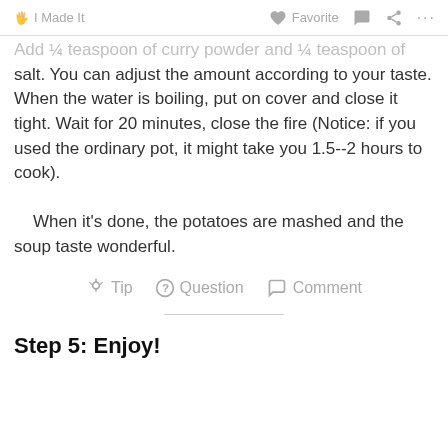I Made It   Favorite   Comment   Share   ...
Add ¼ teaspoon of curry powder and ¼ teaspoon of salt. You can adjust the amount according to your taste. When the water is boiling, put on cover and close it tight. Wait for 20 minutes, close the fire (Notice: if you used the ordinary pot, it might take you 1.5--2 hours to cook). When it's done, the potatoes are mashed and the soup taste wonderful.
Tip   Question   Comment
Step 5: Enjoy!